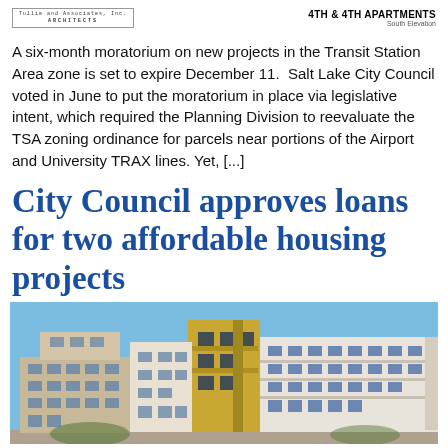Tullie and Associates, Inc. ARCHITECTS | 4TH & 4TH APARTMENTS South Elevation
A six-month moratorium on new projects in the Transit Station Area zone is set to expire December 11.  Salt Lake City Council voted in June to put the moratorium in place via legislative intent, which required the Planning Division to reevaluate the TSA zoning ordinance for parcels near portions of the Airport and University TRAX lines. Yet, [...]
City Council approves loans for two affordable housing projects
[Figure (photo): Architectural rendering of a modern multi-story apartment building (4th & 4th Apartments) with beige, white, and yellow-gold facade panels under a blue sky.]